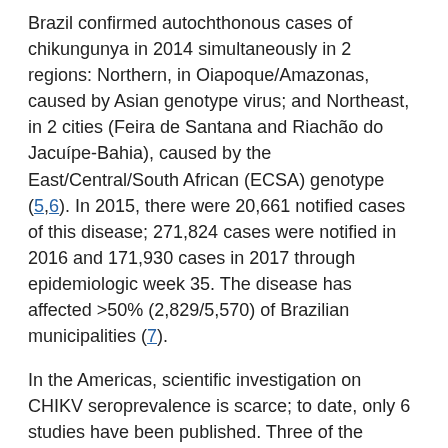Brazil confirmed autochthonous cases of chikungunya in 2014 simultaneously in 2 regions: Northern, in Oiapoque/Amazonas, caused by Asian genotype virus; and Northeast, in 2 cities (Feira de Santana and Riachão do Jacuípe-Bahia), caused by the East/Central/South African (ECSA) genotype (5,6). In 2015, there were 20,661 notified cases of this disease; 271,824 cases were notified in 2016 and 171,930 cases in 2017 through epidemiologic week 35. The disease has affected >50% (2,829/5,570) of Brazilian municipalities (7).
In the Americas, scientific investigation on CHIKV seroprevalence is scarce; to date, only 6 studies have been published. Three of the published studies involved blood donors; 1 in Puerto Rico, with seroprevalence of 23.5% (8); 1 in Guadeloupe, with